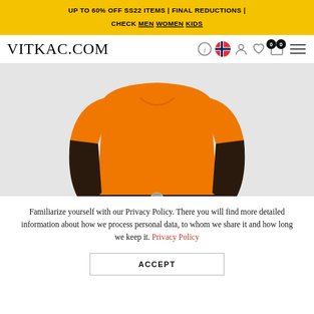UP TO 60% OFF SS22 ITEMS | FINAL REDUCTIONS | CHECK MEN WOMEN KIDS
VITKAC.COM
[Figure (photo): Fashion model wearing an orange short-sleeve Henley t-shirt tucked into black patent leather shorts with a silver Gucci belt buckle, photographed against a light gray background.]
Familiarize yourself with our Privacy Policy. There you will find more detailed information about how we process personal data, to whom we share it and how long we keep it. Privacy Policy
ACCEPT